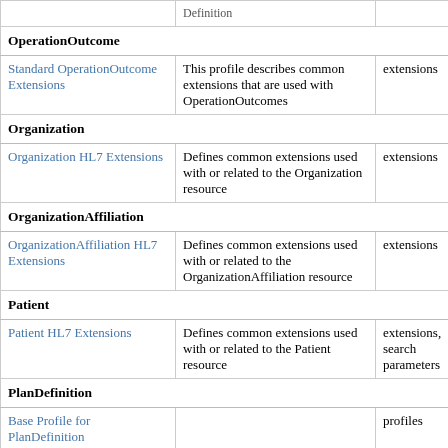|  | Definition |  |  |
| --- | --- | --- | --- |
| OperationOutcome |  |  |  |
| Standard OperationOutcome Extensions | This profile describes common extensions that are used with OperationOutcomes | extensions |  |
| Organization |  |  |  |
| Organization HL7 Extensions | Defines common extensions used with or related to the Organization resource | extensions |  |
| OrganizationAffiliation |  |  |  |
| OrganizationAffiliation HL7 Extensions | Defines common extensions used with or related to the OrganizationAffiliation resource | extensions |  |
| Patient |  |  |  |
| Patient HL7 Extensions | Defines common extensions used with or related to the Patient resource | extensions, search parameters |  |
| PlanDefinition |  |  |  |
| Base Profile for PlanDefinition |  | profiles |  |
| CDSHooksServicePlanDefinition | Defines a PlanDefinition that implements the behavior for | profiles |  |